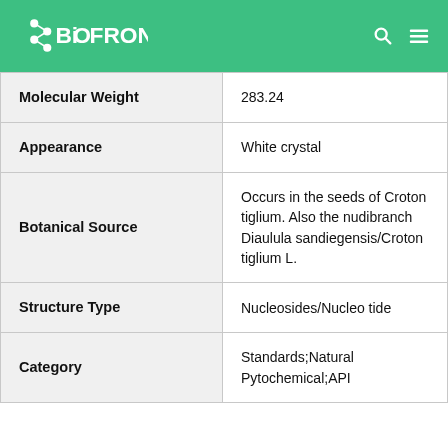BIOFRON
| Property | Value |
| --- | --- |
| Molecular Weight | 283.24 |
| Appearance | White crystal |
| Botanical Source | Occurs in the seeds of Croton tiglium. Also the nudibranch Diaulula sandiegensis/Croton tiglium L. |
| Structure Type | Nucleosides/Nucleotide |
| Category | Standards;Natural Pytochemical;API |